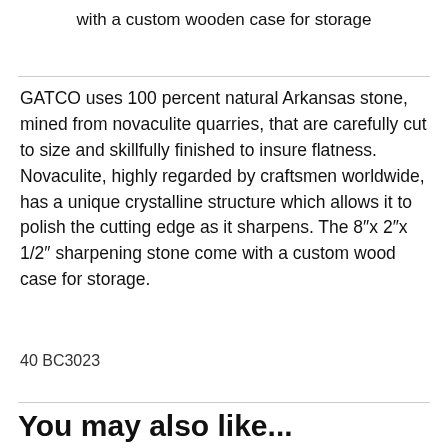with a custom wooden case for storage
GATCO uses 100 percent natural Arkansas stone, mined from novaculite quarries, that are carefully cut to size and skillfully finished to insure flatness. Novaculite, highly regarded by craftsmen worldwide, has a unique crystalline structure which allows it to polish the cutting edge as it sharpens. The 8"x 2"x 1/2" sharpening stone come with a custom wood case for storage.
40 BC3023
You may also like...